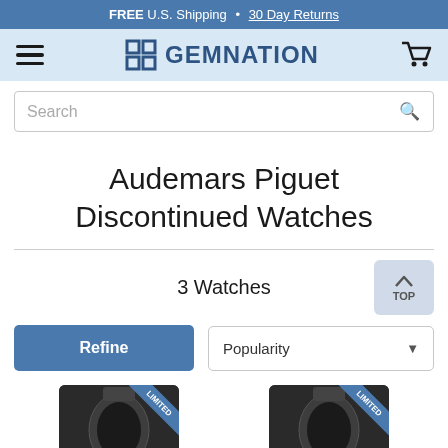FREE U.S. Shipping • 30 Day Returns
[Figure (logo): Gemnation logo with icon and wordmark]
Search
Audemars Piguet Discontinued Watches
3 Watches
Refine
Popularity
[Figure (photo): Two luxury watch product thumbnails with LIMITED ribbon badges]